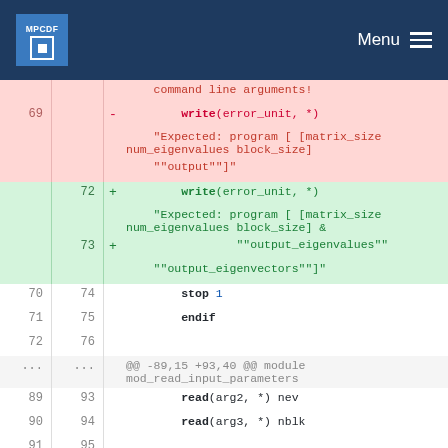MPCDF Menu
[Figure (screenshot): Code diff view showing changes to Fortran source file. Deleted lines (red background) and added lines (green background) with line numbers on left and right columns, diff sign column, and code content.]
command line arguments!
69   -   write(error_unit, *)
    "Expected: program [ [matrix_size num_eigenvalues block_size]
    ""output""]"
72   +   write(error_unit, *)
    "Expected: program [ [matrix_size num_eigenvalues block_size] &
73   +   ""output_eigenvalues"" ""output_eigenvectors""]"
70  74       stop 1
71  75       endif
72  76
...  ...  @@ -89,15 +93,40 @@ module mod_read_input_parameters
89  93       read(arg2, *) nev
90  94       read(arg3, *) nblk
91  95
92   -   if (arg4 .eq. "output") then
93   -       write_to_file = .true.